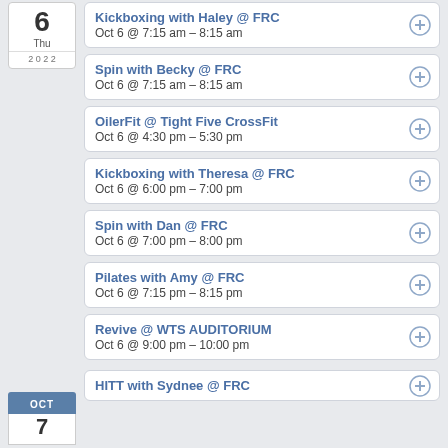Kickboxing with Haley @ FRC
Oct 6 @ 7:15 am – 8:15 am
Spin with Becky @ FRC
Oct 6 @ 7:15 am – 8:15 am
OilerFit @ Tight Five CrossFit
Oct 6 @ 4:30 pm – 5:30 pm
Kickboxing with Theresa @ FRC
Oct 6 @ 6:00 pm – 7:00 pm
Spin with Dan @ FRC
Oct 6 @ 7:00 pm – 8:00 pm
Pilates with Amy @ FRC
Oct 6 @ 7:15 pm – 8:15 pm
Revive @ WTS AUDITORIUM
Oct 6 @ 9:00 pm – 10:00 pm
HITT with Sydnee @ FRC